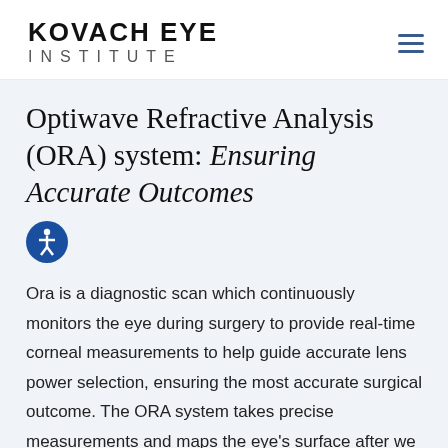KOVACH EYE INSTITUTE
Optiwave Refractive Analysis (ORA) system: Ensuring Accurate Outcomes
Ora is a diagnostic scan which continuously monitors the eye during surgery to provide real-time corneal measurements to help guide accurate lens power selection, ensuring the most accurate surgical outcome. The ORA system takes precise measurements and maps the eye's surface after we remove the lens. This allows for an individualized lens